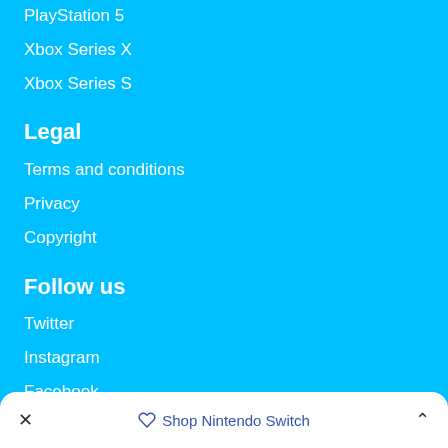PlayStation 5
Xbox Series X
Xbox Series S
Legal
Terms and conditions
Privacy
Copyright
Follow us
Twitter
Instagram
Facebook
Shop Nintendo Switch